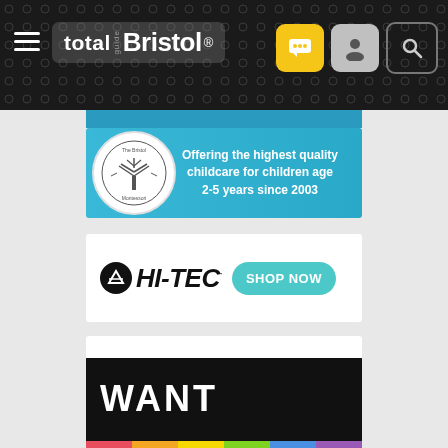[Figure (screenshot): Total Guide Bristol navigation bar with hamburger menu, logo, and icons for chat, user, and search]
[Figure (screenshot): Bristol Montessori advertisement: 'Offering the highest quality childcare for children age 2-5 years since 2003' with circular tree logo on blue background]
[Figure (screenshot): HI-TEC shoes advertisement with logo and 'SHOP NOW' button on teal pill-shaped background]
[Figure (screenshot): PDQ 4 You advertisement: teal contactless payment icon with text 'PDQ 4 You' and 'Saving you time and money']
[Figure (screenshot): WANT advertisement — large white text 'WANT' on black background with multicolor stripe at bottom]